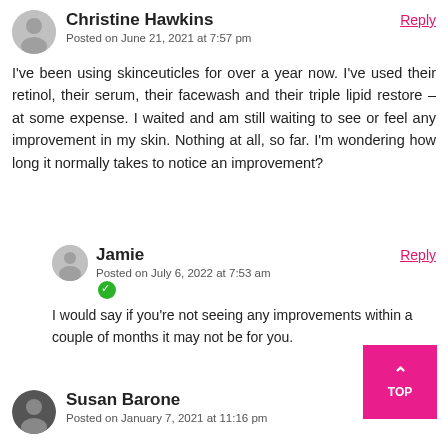Christine Hawkins
Posted on June 21, 2021 at 7:57 pm
Reply
I've been using skinceuticles for over a year now. I've used their retinol, their serum, their facewash and their triple lipid restore – at some expense. I waited and am still waiting to see or feel any improvement in my skin. Nothing at all, so far. I'm wondering how long it normally takes to notice an improvement?
Jamie
Posted on July 6, 2022 at 7:53 am
Reply
I would say if you're not seeing any improvements within a couple of months it may not be for you.
Susan Barone
Posted on January 7, 2021 at 11:16 pm